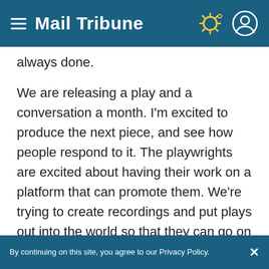Mail Tribune
always done.
We are releasing a play and a conversation a month. I'm excited to produce the next piece, and see how people respond to it. The playwrights are excited about having their work on a platform that can promote them. We're trying to create recordings and put plays out into the world so that they can go on to their next life. This is a way to extend our reach, to give ourselves a year-round presence, not only
By continuing on this site, you agree to our Privacy Policy.